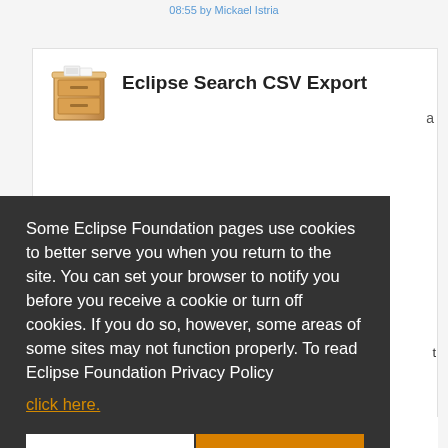08:55 by Mickael Istria
[Figure (screenshot): Eclipse Search CSV Export plugin page with cookie consent overlay. The page shows a plugin icon and title 'Eclipse Search CSV Export'. A dark overlay displays a cookie notice: 'Some Eclipse Foundation pages use cookies to better serve you when you return to the site. You can set your browser to notify you before you receive a cookie or turn off cookies. If you do so, however, some areas of some sites may not function properly. To read Eclipse Foundation Privacy Policy click here.' with Decline and Allow cookies buttons.]
Some Eclipse Foundation pages use cookies to better serve you when you return to the site. You can set your browser to notify you before you receive a cookie or turn off cookies. If you do so, however, some areas of some sites may not function properly. To read Eclipse Foundation Privacy Policy click here.
(HTML, JSP) files from your